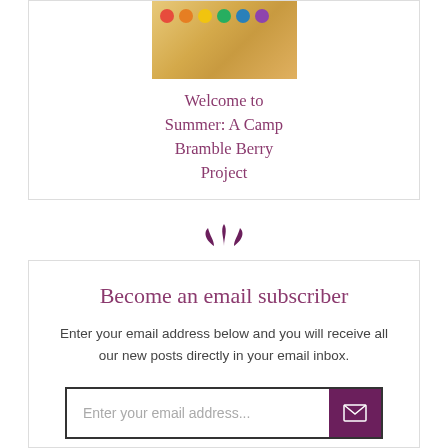[Figure (photo): Colorful beads or marbles on a warm tan/orange background, cropped at top]
Welcome to Summer: A Camp Bramble Berry Project
[Figure (illustration): Lotus/flower decorative divider icon in dark purple/mauve color]
Become an email subscriber
Enter your email address below and you will receive all our new posts directly in your email inbox.
Enter your email address...